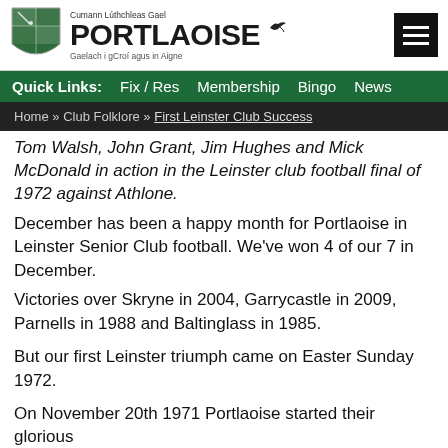Cumann Lúthchleas Gael PORTLAOISE Gaelach i gCroí agus in Aigne
Quick Links: Fix / Res  Membership  Bingo  News
Home » Club Folklore » First Leinster Club Success
Tom Walsh, John Grant, Jim Hughes and Mick McDonald in action in the Leinster club football final of 1972 against Athlone.
December has been a happy month for Portlaoise in Leinster Senior Club football. We've won 4 of our 7 in December.
Victories over Skryne in 2004, Garrycastle in 2009, Parnells in 1988 and Baltinglass in 1985.
But our first Leinster triumph came on Easter Sunday 1972.
On November 20th 1971 Portlaoise started their glorious